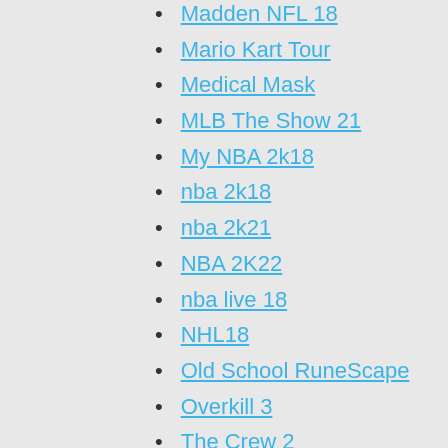Madden NFL 18
Mario Kart Tour
Medical Mask
MLB The Show 21
My NBA 2k18
nba 2k18
nba 2k21
NBA 2K22
nba live 18
NHL18
Old School RuneScape
Overkill 3
The Crew 2
Torchlight 2
Tree of Life: Oddria
Uncategorized
WeTV
World of Warcraft Classic
World of Warcraft: Burning